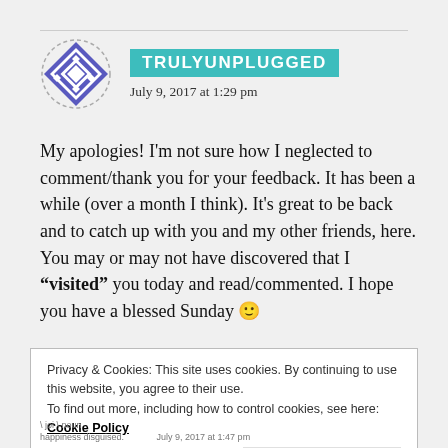[Figure (logo): Trulyunplugged avatar: blue/purple diamond geometric quilt pattern logo]
TRULYUNPLUGGED
July 9, 2017 at 1:29 pm
My apologies! I'm not sure how I neglected to comment/thank you for your feedback. It has been a while (over a month I think). It's great to be back and to catch up with you and my other friends, here. You may or may not have discovered that I “visited” you today and read/commented. I hope you have a blessed Sunday 🙂
Privacy & Cookies: This site uses cookies. By continuing to use this website, you agree to their use. To find out more, including how to control cookies, see here: Cookie Policy
Close and accept